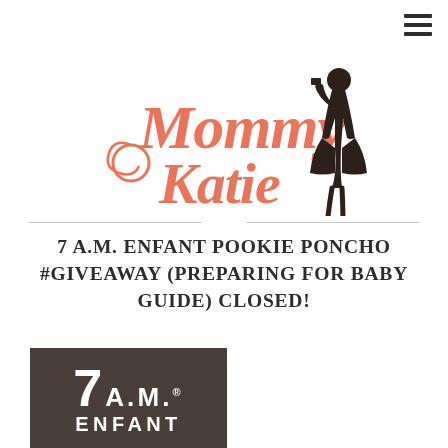[Figure (logo): Mommy Katie blog logo with pink cursive text 'Mommy Katie' and a dark silhouette of a fashionable woman standing to the right]
7 A.M. ENFANT POOKIE PONCHO #GIVEAWAY (PREPARING FOR BABY GUIDE) CLOSED!
[Figure (logo): 7 A.M. Enfant brand logo in white text on dark brown/grey background, showing '7 A.M.' in large bold text and 'ENFANT' below it]